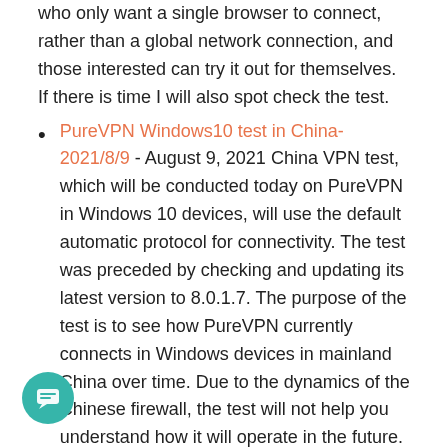who only want a single browser to connect, rather than a global network connection, and those interested can try it out for themselves. If there is time I will also spot check the test.
PureVPN Windows10 test in China-2021/8/9 - August 9, 2021 China VPN test, which will be conducted today on PureVPN in Windows 10 devices, will use the default automatic protocol for connectivity. The test was preceded by checking and updating its latest version to 8.0.1.7. The purpose of the test is to see how PureVPN currently connects in Windows devices in mainland China over time. Due to the dynamics of the Chinese firewall, the test will not help you understand how it will operate in the future. I will conduct the connection test while ensuring that it is true and valid, and whether the test results are